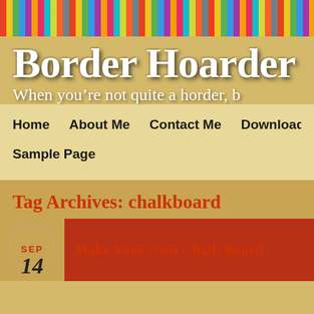[Figure (illustration): Colorful decorative banner strip at top of webpage]
Border Hoarder
When you're not quite a horder, b
Home    About Me    Contact Me    Downloads    Email C
Sample Page
Tag Archives: chalkboard
SEP
14
Make Your Own Chalk Board